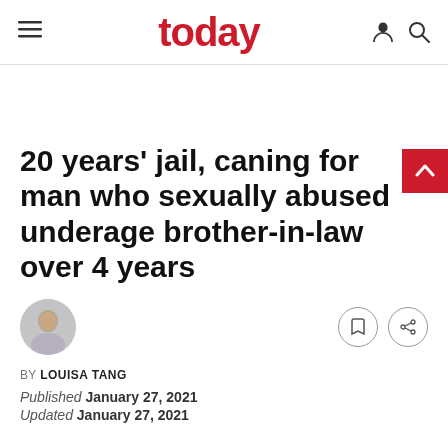today
20 years’ jail, caning for man who sexually abused underage brother-in-law over 4 years
BY LOUISA TANG
Published January 27, 2021
Updated January 27, 2021